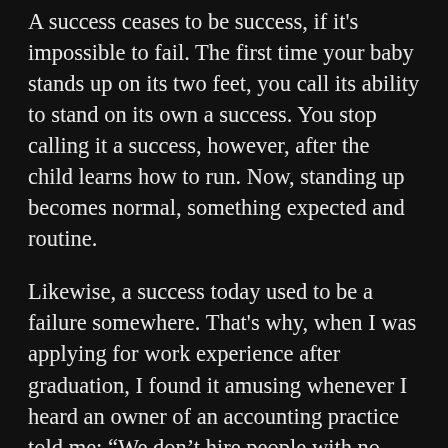A success ceases to be success, if it's impossible to fail. The first time your baby stands up on its two feet, you call its ability to stand on its own a success. You stop calling it a success, however, after the child learns how to run. Now, standing up becomes normal, something expected and routine.
Likewise, a success today used to be a failure somewhere. That's why, when I was applying for work experience after graduation, I found it amusing whenever I heard an owner of an accounting practice told me: “We don’t hire people with no work experience here”. I wondered who had hired them in the first place.